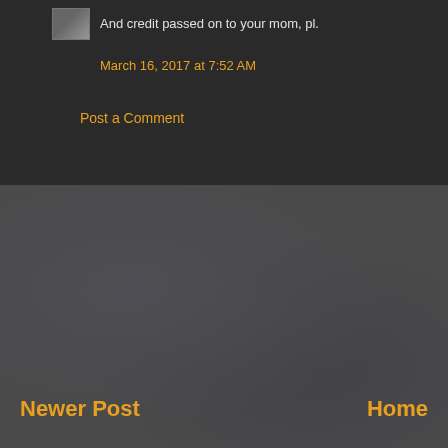[Figure (photo): Small avatar thumbnail image in top dark section]
And credit passed on to your mom, pl.
March 16, 2017 at 7:52 AM
Post a Comment
Newer Post
Home
Subscribe to: Post Comments (Atom)
Popular Posts
Kabhi kisiko mukkamal jahan nahi milta
Kabhi kisiko mukkamal jahan nahi milta Kahin zameen nahi to kahin... Kaun Waqt Ke Shole Ye Aisi Aag...
Live The Way You Want - Anyways...
People are often unreasonable, illogical and self centered Forgive th... accuse you of selfish, ulterior ...
[Figure (photo): Small thumbnail image for a popular post at bottom]